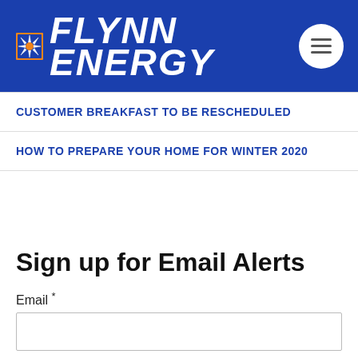[Figure (logo): Flynn Energy logo with sun/rays icon and white bold italic text on blue background, with hamburger menu button circle on the right]
CUSTOMER BREAKFAST TO BE RESCHEDULED
HOW TO PREPARE YOUR HOME FOR WINTER 2020
Sign up for Email Alerts
Email *
Subscribe